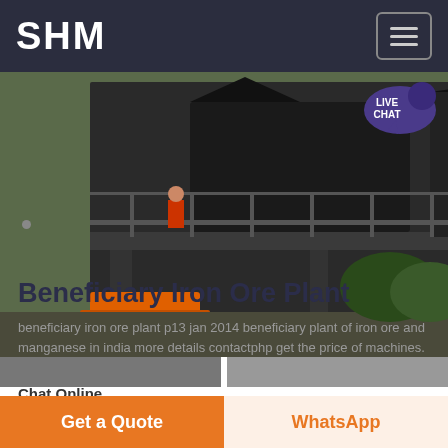SHM
[Figure (photo): Industrial mining/crushing plant machinery on elevated steel frame platform, worker visible on platform, red circular highlight on machinery component, excavator visible below]
Beneficiary Iron Ore Plant
beneficiary iron ore plant p13 jan 2014 beneficiary plant of iron ore and manganese in india more details contactphp get the price of machines.
Chat Online